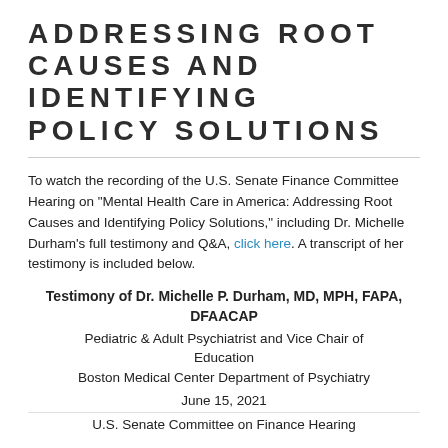ADDRESSING ROOT CAUSES AND IDENTIFYING POLICY SOLUTIONS
To watch the recording of the U.S. Senate Finance Committee Hearing on "Mental Health Care in America: Addressing Root Causes and Identifying Policy Solutions," including Dr. Michelle Durham's full testimony and Q&A, click here. A transcript of her testimony is included below.
Testimony of Dr. Michelle P. Durham, MD, MPH, FAPA, DFAACAP
Pediatric & Adult Psychiatrist and Vice Chair of Education
Boston Medical Center Department of Psychiatry
June 15, 2021
U.S. Senate Committee on Finance Hearing